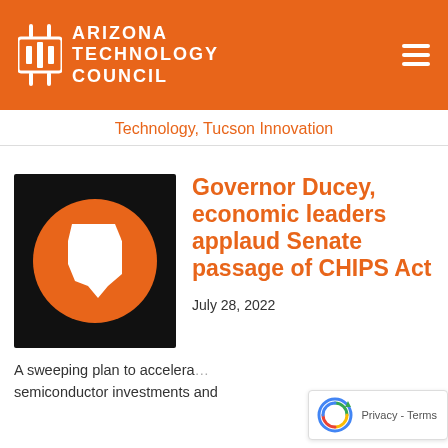Arizona Technology Council
Technology, Tucson Innovation
[Figure (logo): Arizona state outline in white on an orange circle against a black square background]
Governor Ducey, economic leaders applaud Senate passage of CHIPS Act
July 28, 2022
A sweeping plan to accelerate semiconductor investments and